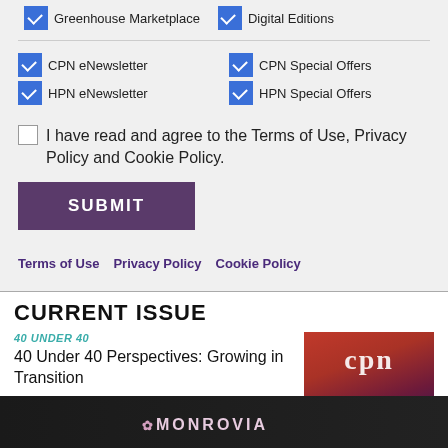Greenhouse Marketplace [checked] Digital Editions [checked]
[checked] CPN eNewsletter   [checked] CPN Special Offers
[checked] HPN eNewsletter   [checked] HPN Special Offers
[ ] I have read and agree to the Terms of Use, Privacy Policy and Cookie Policy.
SUBMIT
Terms of Use   Privacy Policy   Cookie Policy
CURRENT ISSUE
40 UNDER 40
40 Under 40 Perspectives: Growing in Transition
CULTURE, VARIETY INFO
Culture Report: Flamma Celosia
[Figure (photo): CPN magazine cover with red and orange flowers]
[Figure (photo): Monrovia advertisement banner with pink echinacea flowers]